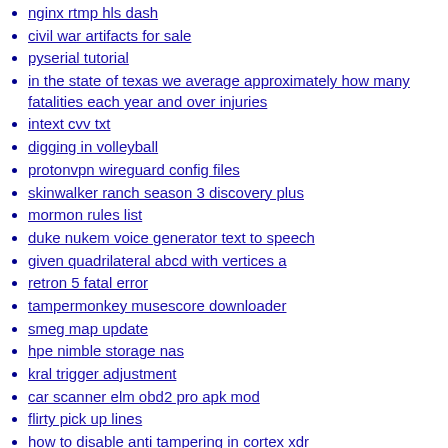nginx rtmp hls dash
civil war artifacts for sale
pyserial tutorial
in the state of texas we average approximately how many fatalities each year and over injuries
intext cvv txt
digging in volleyball
protonvpn wireguard config files
skinwalker ranch season 3 discovery plus
mormon rules list
duke nukem voice generator text to speech
given quadrilateral abcd with vertices a
retron 5 fatal error
tampermonkey musescore downloader
smeg map update
hpe nimble storage nas
kral trigger adjustment
car scanner elm obd2 pro apk mod
flirty pick up lines
how to disable anti tampering in cortex xdr
high and low the worst full movie eng sub dramacool
failed to load ii2cpp
reach hack minecraft bedrock
rawzu crosshair settings valorant
tian bao fuyao lu novel english